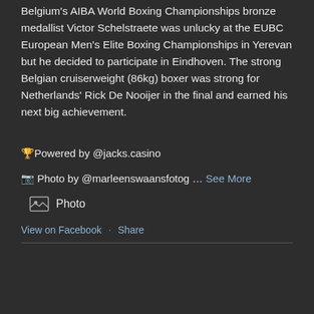Belgium's AIBA World Boxing Championships bronze medallist Victor Schelstraete was unlucky at the EUBC European Men's Elite Boxing Championships in Yerevan but he decided to participate in Eindhoven. The strong Belgian cruiserweight (86kg) boxer was strong for Netherlands' Rick De Nooijer in the final and earned his next big achievement.
🏆Powered by @jacks.casino
📷 Photo by @marleenswaansfotog … See More
[Figure (other): Photo attachment icon with label 'Photo']
View on Facebook · Share
Eindhoven
Canada... champion Dylan Martin won the semi final against Iceland's experienced Jake Tucke on a...
This site uses cookies. By continuing to browse the site, you are agreeing to our use of cookies.
OK
Lees hier onze privacy policy